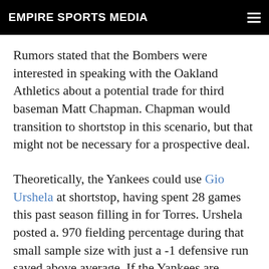EMPIRE SPORTS MEDIA
Rumors stated that the Bombers were interested in speaking with the Oakland Athletics about a potential trade for third baseman Matt Chapman. Chapman would transition to shortstop in this scenario, but that might not be necessary for a prospective deal.
Theoretically, the Yankees could use Gio Urshela at shortstop, having spent 28 games this past season filling in for Torres. Urshela posted a. 970 fielding percentage during that small sample size with just a -1 defensive run saved above average. If the Yankees are confident Gio can hold it down over the short